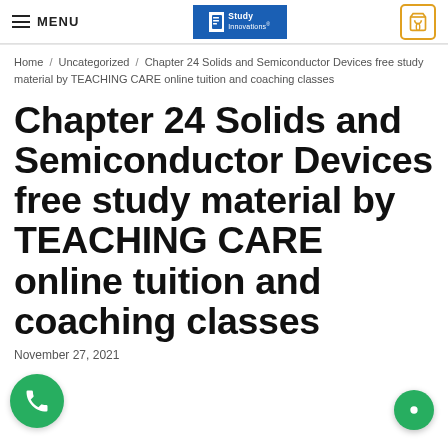MENU | Study Innovations logo | Cart (0)
Home / Uncategorized / Chapter 24 Solids and Semiconductor Devices free study material by TEACHING CARE online tuition and coaching classes
Chapter 24 Solids and Semiconductor Devices free study material by TEACHING CARE online tuition and coaching classes
November 27, 2021